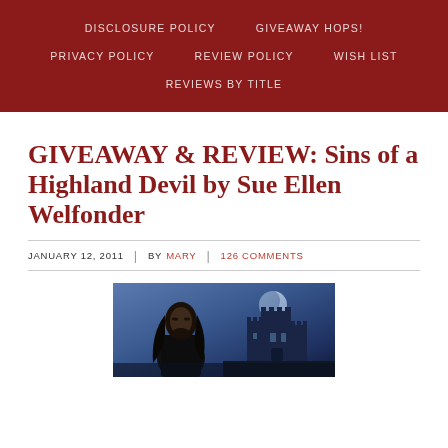DISCLOSURE POLICY   GIVEAWAY HOPS!   PRIVACY POLICY   REVIEW POLICY   WISH LIST   REVIEWS BY TITLE
GIVEAWAY & REVIEW: Sins of a Highland Devil by Sue Ellen Welfonder
JANUARY 12, 2011  |  BY MARY  |  126 COMMENTS
[Figure (photo): Book cover of 'Sins of a Highland Devil' by Sue Ellen Welfonder showing a dark-haired man in the foreground and a castle silhouette against a blue moonlit sky in the background]